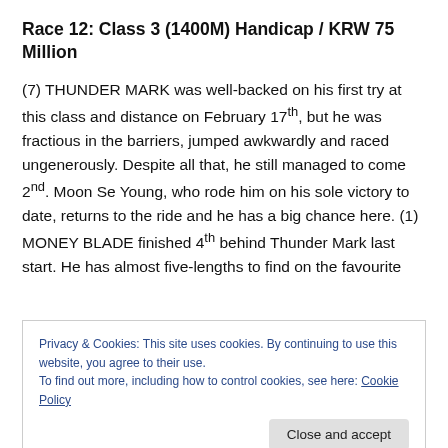Race 12: Class 3 (1400M) Handicap / KRW 75 Million
(7) THUNDER MARK was well-backed on his first try at this class and distance on February 17th, but he was fractious in the barriers, jumped awkwardly and raced ungenerously. Despite all that, he still managed to come 2nd. Moon Se Young, who rode him on his sole victory to date, returns to the ride and he has a big chance here. (1) MONEY BLADE finished 4th behind Thunder Mark last start. He has almost five-lengths to find on the favourite
Privacy & Cookies: This site uses cookies. By continuing to use this website, you agree to their use.
To find out more, including how to control cookies, see here: Cookie Policy
Close and accept